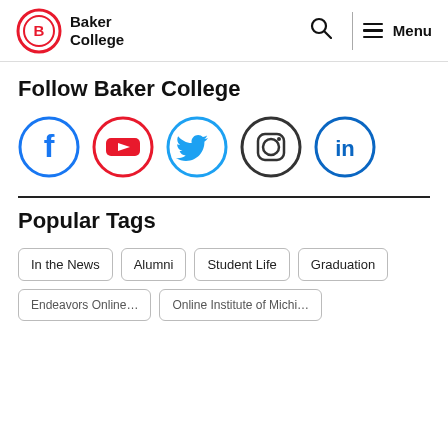Baker College | Menu
Follow Baker College
[Figure (illustration): Social media icons: Facebook (blue circle), YouTube (red circle), Twitter (light blue circle), Instagram (dark circle), LinkedIn (blue circle)]
Popular Tags
In the News
Alumni
Student Life
Graduation